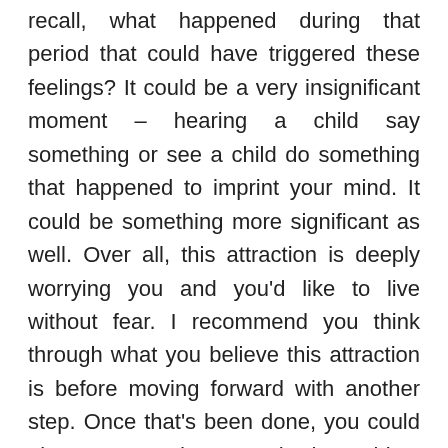recall, what happened during that period that could have triggered these feelings? It could be a very insignificant moment – hearing a child say something or see a child do something that happened to imprint your mind. It could be something more significant as well. Over all, this attraction is deeply worrying you and you'd like to live without fear. I recommend you think through what you believe this attraction is before moving forward with another step. Once that's been done, you could always try and approach the subject with someone that you trust, that you can confide in without fear of being reprised. If this doesn't seem plausible, there's always the option of trying to get an appointment with a sexologist or a psychologist and to delve deeper into how this situation is